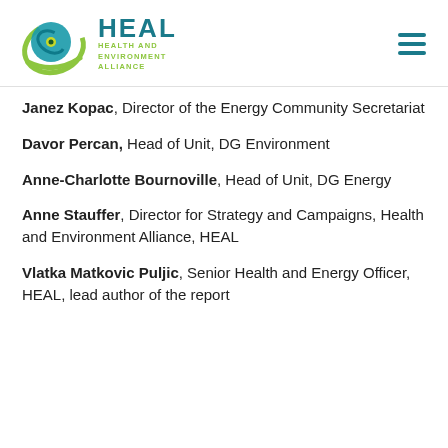[Figure (logo): HEAL Health and Environment Alliance logo with circular teal/green swirl graphic and teal/green text]
Janez Kopac, Director of the Energy Community Secretariat
Davor Percan, Head of Unit, DG Environment
Anne-Charlotte Bournoville, Head of Unit, DG Energy
Anne Stauffer, Director for Strategy and Campaigns, Health and Environment Alliance, HEAL
Vlatka Matkovic Puljic, Senior Health and Energy Officer, HEAL, lead author of the report